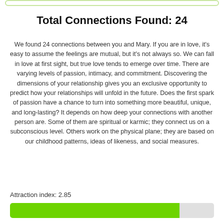Total Connections Found: 24
We found 24 connections between you and Mary. If you are in love, it's easy to assume the feelings are mutual, but it's not always so. We can fall in love at first sight, but true love tends to emerge over time. There are varying levels of passion, intimacy, and commitment. Discovering the dimensions of your relationship gives you an exclusive opportunity to predict how your relationships will unfold in the future. Does the first spark of passion have a chance to turn into something more beautiful, unique, and long-lasting? It depends on how deep your connections with another person are. Some of them are spiritual or karmic; they connect us on a subconscious level. Others work on the physical plane; they are based on our childhood patterns, ideas of likeness, and social measures.
Attraction index: 2.85